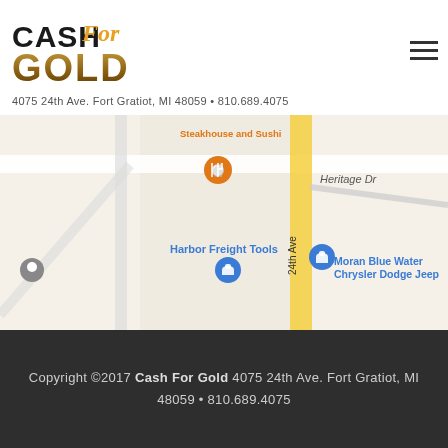[Figure (logo): Cash For Gold logo with stylized text, CASH in dark, For in italic orange/gold, GOLD in gradient brown/gold]
4075 24th Ave. Fort Gratiot, MI 48059 • 810.689.4075
[Figure (map): Google Maps screenshot showing 24th Ave area in Fort Gratiot MI, with landmarks: Steakhouse and Sushi, Harbor Freight Tools, Moran Blue Water Chrysler Dodge Jeep, Heritage Dr]
Copyright ©2017 Cash For Gold 4075 24th Ave. Fort Gratiot, MI 48059 • 810.689.4075